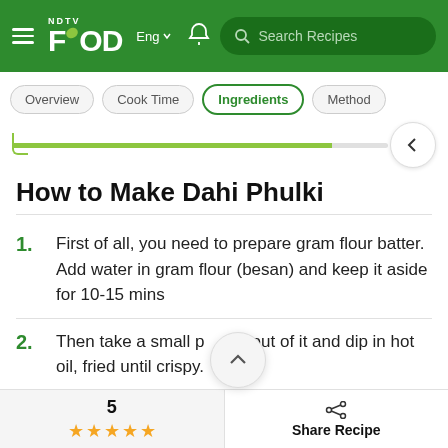NDTV Food | Eng | Search Recipes
Overview | Cook Time | Ingredients | Method
How to Make Dahi Phulki
1. First of all, you need to prepare gram flour batter. Add water in gram flour (besan) and keep it aside for 10-15 mins
2. Then take a small portion out of it and dip in hot oil, fried until crispy.
5 ★★★★★ Share Recipe